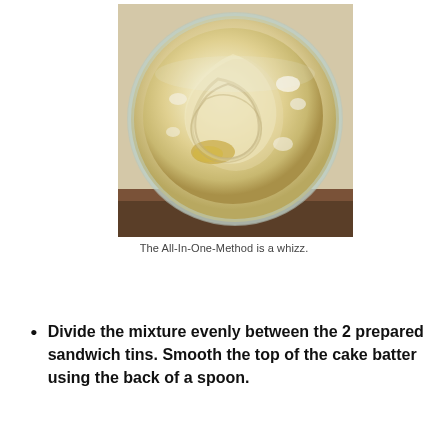[Figure (photo): Overhead view of a glass mixing bowl containing pale yellow cake batter with swirled texture, showing the All-In-One method result. Dark wooden surface visible at the bottom.]
The All-In-One-Method is a whizz.
Divide the mixture evenly between the 2 prepared sandwich tins. Smooth the top of the cake batter using the back of a spoon.